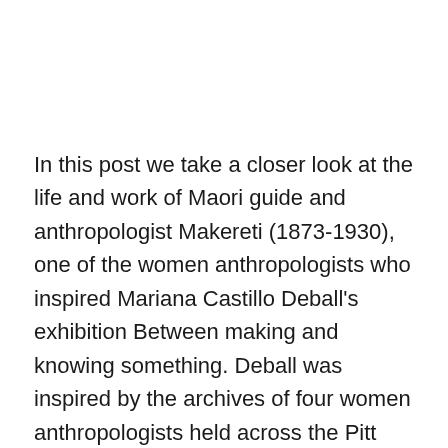In this post we take a closer look at the life and work of Maori guide and anthropologist Makereti (1873-1930), one of the women anthropologists who inspired Mariana Castillo Deball's exhibition Between making and knowing something. Deball was inspired by the archives of four women anthropologists held across the Pitt Rivers Museum collection and the Smithsonian… Continue reading